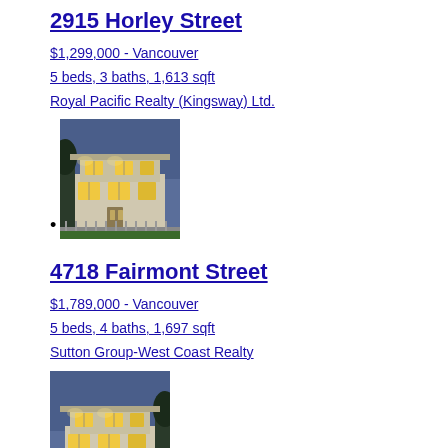2915 Horley Street
$1,299,000 - Vancouver
5 beds, 3 baths, 1,613 sqft
Royal Pacific Realty (Kingsway) Ltd.
[Figure (photo): Exterior photo of a two-storey residential house at dusk with lights on, iron fence in front, blue sky background]
4718 Fairmont Street
$1,789,000 - Vancouver
5 beds, 4 baths, 1,697 sqft
Sutton Group-West Coast Realty
[Figure (photo): Exterior photo of a two-storey residential house at dusk with lights on, blue sky background, similar architectural style]